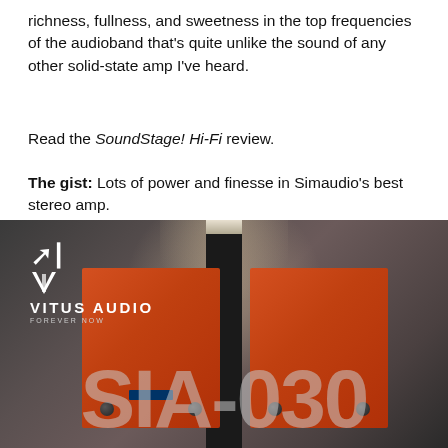richness, fullness, and sweetness in the top frequencies of the audioband that's quite unlike the sound of any other solid-state amp I've heard.
Read the SoundStage! Hi-Fi review.
The gist: Lots of power and finesse in Simaudio's best stereo amp.
[Figure (photo): Vitus Audio advertisement showing two orange SIA-030 integrated amplifier units flanking a central black pillar, with the text 'SIA-030' in large translucent letters across the bottom. The Vitus Audio logo and 'FOREVER NOW' tagline appear in the upper left.]